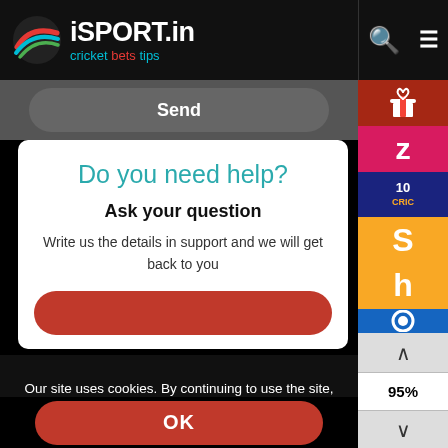iSPORT.in cricket bets tips
Send
Do you need help?
Ask your question
Write us the details in support and we will get back to you
Our site uses cookies. By continuing to use the site, you consent to the use of these cookies.
OK
[Figure (screenshot): Right sidebar with colored brand icons: gift (dark red), Z (pink/magenta), 10cric (dark blue), S (yellow), h (yellow), alpha icon (blue), navigation arrows and 95% zoom indicator]